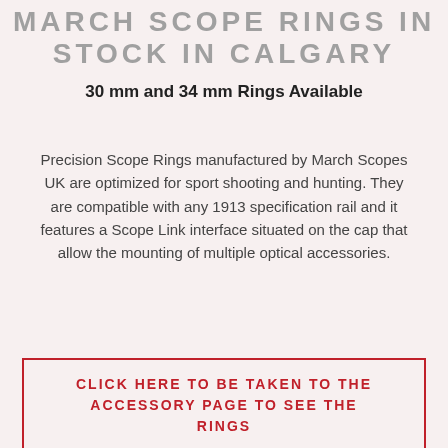MARCH SCOPE RINGS IN STOCK IN CALGARY
30 mm and 34 mm Rings Available
Precision Scope Rings manufactured by March Scopes UK are optimized for sport shooting and hunting. They are compatible with any 1913 specification rail and it features a Scope Link interface situated on the cap that allow the mounting of multiple optical accessories.
CLICK HERE TO BE TAKEN TO THE ACCESSORY PAGE TO SEE THE RINGS